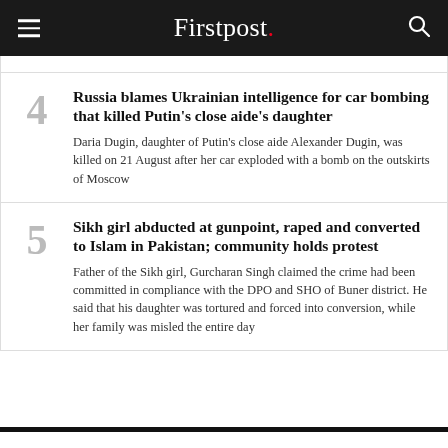Firstpost.
4 Russia blames Ukrainian intelligence for car bombing that killed Putin's close aide's daughter — Daria Dugin, daughter of Putin's close aide Alexander Dugin, was killed on 21 August after her car exploded with a bomb on the outskirts of Moscow
5 Sikh girl abducted at gunpoint, raped and converted to Islam in Pakistan; community holds protest — Father of the Sikh girl, Gurcharan Singh claimed the crime had been committed in compliance with the DPO and SHO of Buner district. He said that his daughter was tortured and forced into conversion, while her family was misled the entire day